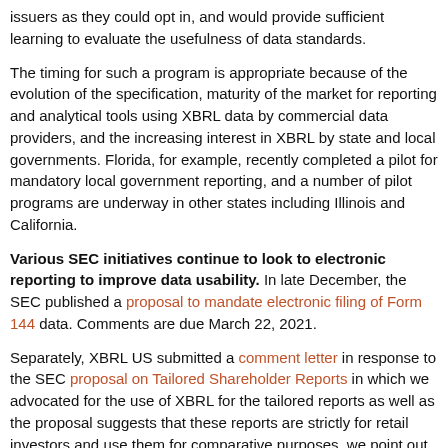issuers as they could opt in, and would provide sufficient learning to evaluate the usefulness of data standards.
The timing for such a program is appropriate because of the evolution of the XBRL specification, maturity of the market for reporting and analytical tools using XBRL data by commercial data providers, and the increasing interest in XBRL by state and local governments. Florida, for example, recently completed a pilot for mandatory local government reporting, and a number of pilot programs are underway in other states including Illinois and California.
Various SEC initiatives continue to look to electronic reporting to improve data usability. In late December, the SEC published a proposal to mandate electronic filing of Form 144 data. Comments are due March 22, 2021.
Separately, XBRL US submitted a comment letter in response to the SEC proposal on Tailored Shareholder Reports in which we advocated for the use of XBRL for the tailored reports as well as the proposal suggests that these reports are strictly for retail investors and use them for comparative purposes, we point out that third-party providers will aggregate data and serve it up to retail investors to compare fund performance.
Recent Point of View Blog Posts